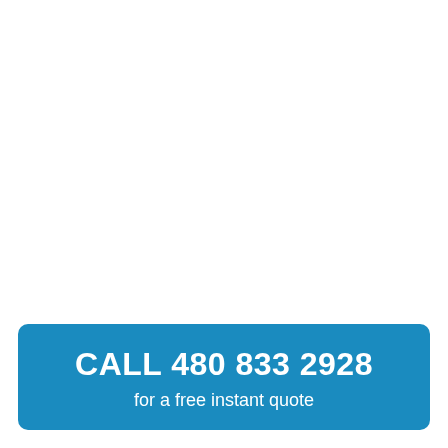CALL 480 833 2928
for a free instant quote